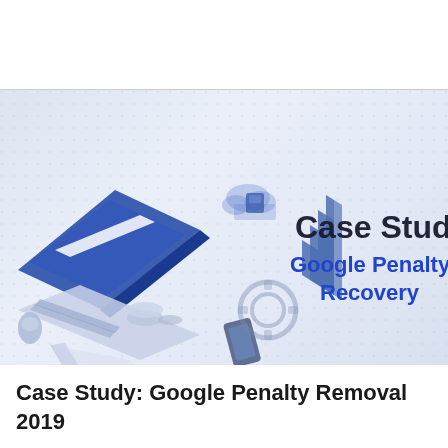[Figure (illustration): Case Study: Google Penalty Recovery banner image with isometric illustration of a laptop, keyboard, mouse, phone, gears, cloud, and bar chart elements on a light blue/white gradient background. Large bold text reads 'Case Study' in dark/black and 'Google Penalty Recovery' in blue.]
Case Study: Google Penalty Removal 2019